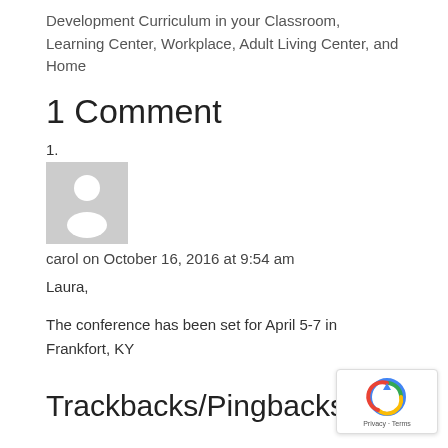Development Curriculum in your Classroom, Learning Center, Workplace, Adult Living Center, and Home
1 Comment
1.
[Figure (illustration): Default user avatar placeholder — grey square with white silhouette of a person]
carol on October 16, 2016 at 9:54 am
Laura,
The conference has been set for April 5-7 in Frankfort, KY
Trackbacks/Pingbacks